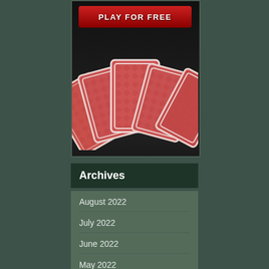[Figure (illustration): A dark-background card game banner showing four playing cards fanned out with red patterned backs, and a red 'PLAY FOR FREE' button at the top]
Archives
August 2022
July 2022
June 2022
May 2022